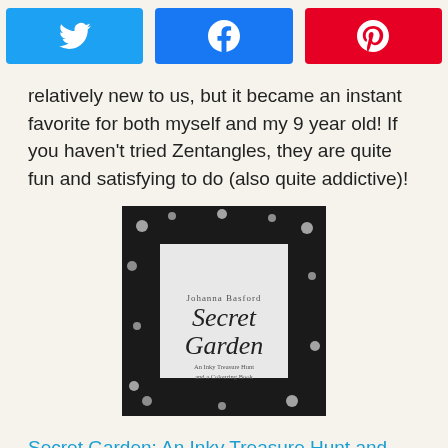[Figure (other): Social sharing buttons: Twitter (blue), Facebook (blue), Pinterest (red)]
relatively new to us, but it became an instant favorite for both myself and my 9 year old! If you haven't tried Zentangles, they are quite fun and satisfying to do (also quite addictive)!
[Figure (photo): Book cover of 'Secret Garden: An Inky Treasure Hunt and Coloring Book' by Johanna Basford, featuring intricate black and white floral illustrations]
Secret Garden: An Inky Treasure Hunt and Coloring Book — My 9 year old recently read The Secret Garden and adored it, so I knew this coloring book was